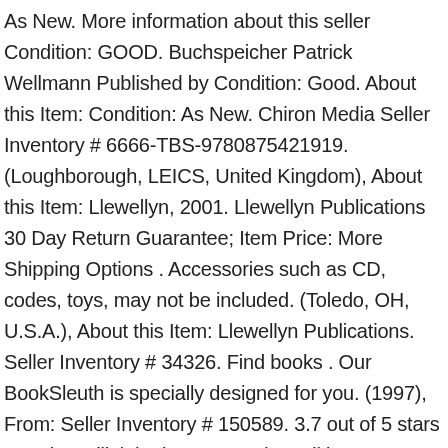As New. More information about this seller Condition: GOOD. Buchspeicher Patrick Wellmann Published by Condition: Good. About this Item: Condition: As New. Chiron Media Seller Inventory # 6666-TBS-9780875421919. (Loughborough, LEICS, United Kingdom), About this Item: Llewellyn, 2001. Llewellyn Publications 30 Day Return Guarantee; Item Price: More Shipping Options . Accessories such as CD, codes, toys, may not be included. (Toledo, OH, U.S.A.), About this Item: Llewellyn Publications. Seller Inventory # 34326. Find books . Our BookSleuth is specially designed for you. (1997), From: Seller Inventory # 150589. 3.7 out of 5 stars 6. Spine still tight, in very good condition. Condition: POOR. The Llewellyn Practical Guide to Astral Projection by Denning and Phillips is simply the best step-by-step set of lessons for learning this skill